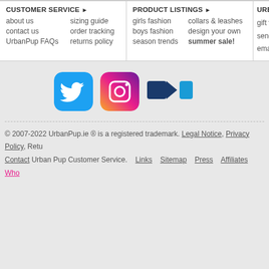CUSTOMER SERVICE ▶
about us   sizing guide   contact us   order tracking   UrbanPup FAQs   returns policy
PRODUCT LISTINGS ▶
girls fashion   collars & leashes   boys fashion   design your own   season trends   summer sale!
URBA...
gift vou...   send a...   email a...
[Figure (logo): Twitter and Instagram social media icons, plus partial additional social icons]
© 2007-2022 UrbanPup.ie ® is a registered trademark. Legal Notice, Privacy Policy, Retu... Contact Urban Pup Customer Service.   Links   Sitemap   Press   Affiliates   Who...